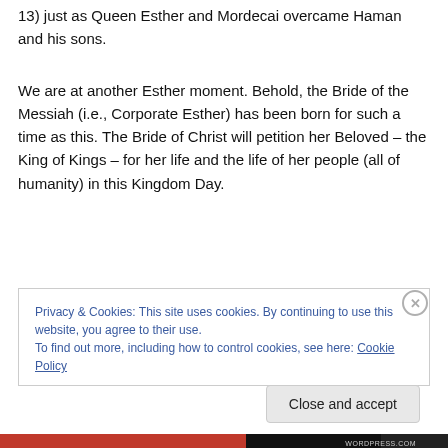13) just as Queen Esther and Mordecai overcame Haman and his sons.
We are at another Esther moment. Behold, the Bride of the Messiah (i.e., Corporate Esther) has been born for such a time as this. The Bride of Christ will petition her Beloved – the King of Kings – for her life and the life of her people (all of humanity) in this Kingdom Day.
Privacy & Cookies: This site uses cookies. By continuing to use this website, you agree to their use.
To find out more, including how to control cookies, see here: Cookie Policy
Close and accept